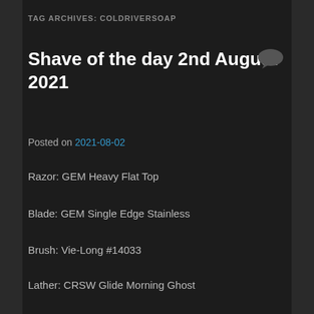TAG ARCHIVES: COLDRIVERSOAP
Shave of the day 2nd August 2021
Posted on 2021-08-02
Razor: GEM Heavy Flat Top
Blade: GEM Single Edge Stainless
Brush: Vie-Long #14033
Lather: CRSW Glide Morning Ghost
Aftershave: Barber No3 Marmara
Additional Care: Alum Block